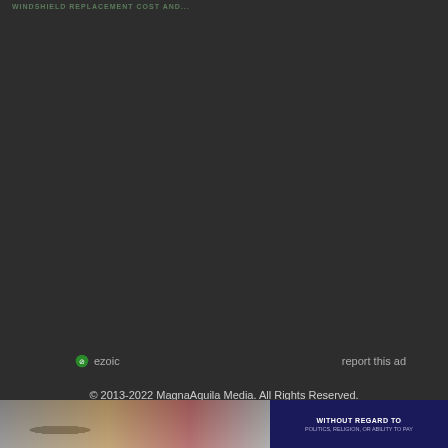WINDSHIELD REPLACEMENT COST AND...
ezoic   report this ad
© 2013-2022 MagnaAquila Media. All Rights Reserved.
[Figure (photo): Advertisement banner showing an airplane being loaded with cargo, with text 'WITHOUT REGARD TO POLITICS, RELIGION, OR ABILITY TO PAY']